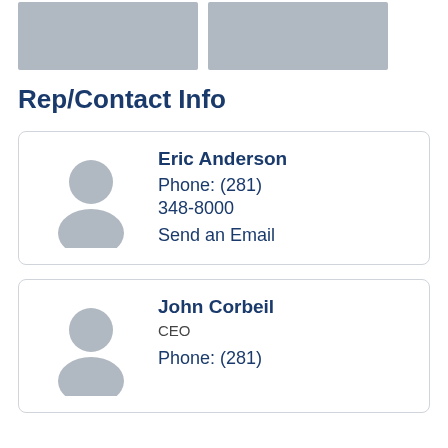[Figure (photo): Two room interior photos side by side at top of page]
Rep/Contact Info
[Figure (illustration): Contact card for Eric Anderson with avatar placeholder, phone (281) 348-8000 and Send an Email link]
Eric Anderson
Phone: (281) 348-8000
Send an Email
[Figure (illustration): Contact card for John Corbeil, CEO with avatar placeholder, phone (281)]
John Corbeil
CEO
Phone: (281)